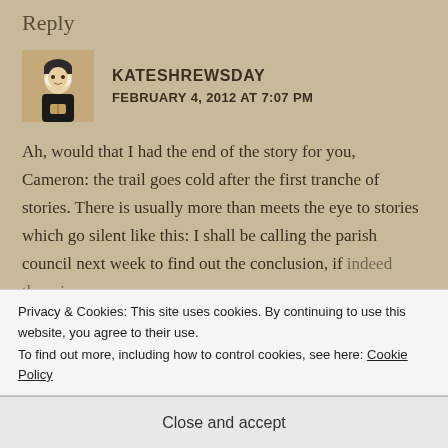Reply
KATESHREWSDAY
FEBRUARY 4, 2012 AT 7:07 PM
Ah, would that I had the end of the story for you, Cameron: the trail goes cold after the first tranche of stories. There is usually more than meets the eye to stories which go silent like this: I shall be calling the parish council next week to find out the conclusion, if indeed there is one.
Privacy & Cookies: This site uses cookies. By continuing to use this website, you agree to their use.
To find out more, including how to control cookies, see here: Cookie Policy
Close and accept
FEBRUARY 4, 2012 AT 7:12 PM